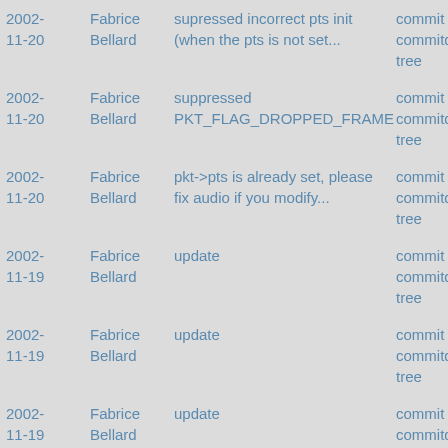| date | author | message | links |
| --- | --- | --- | --- |
| 2002-11-20 | Fabrice Bellard | supressed incorrect pts init (when the pts is not set... | commit | commitdiff | tree |
| 2002-11-20 | Fabrice Bellard | suppressed PKT_FLAG_DROPPED_FRAME | commit | commitdiff | tree |
| 2002-11-20 | Fabrice Bellard | pkt->pts is already set, please fix audio if you modify... | commit | commitdiff | tree |
| 2002-11-19 | Fabrice Bellard | update | commit | commitdiff | tree |
| 2002-11-19 | Fabrice Bellard | update | commit | commitdiff | tree |
| 2002-11-19 | Fabrice Bellard | update | commit | commitdiff | tree |
| 2002-11-19 | Fabrice Bellard | added CREDITS file (tell me if I forgot someone) | commit | commitdiff | tree |